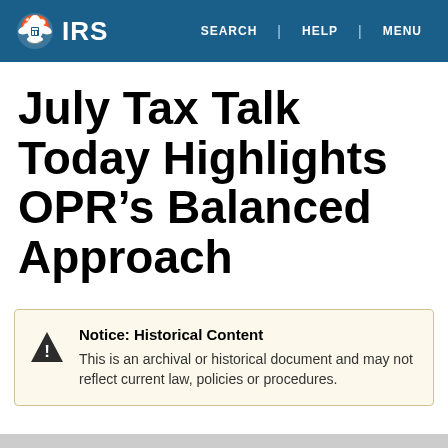IRS | SEARCH | HELP | MENU
July Tax Talk Today Highlights OPR’s Balanced Approach
Notice: Historical Content
This is an archival or historical document and may not reflect current law, policies or procedures.